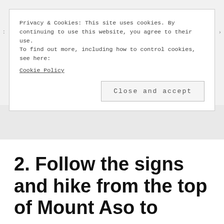Privacy & Cookies: This site uses cookies. By continuing to use this website, you agree to their use.
To find out more, including how to control cookies, see here:
Cookie Policy
Close and accept
2. Follow the signs and hike from the top of Mount Aso to